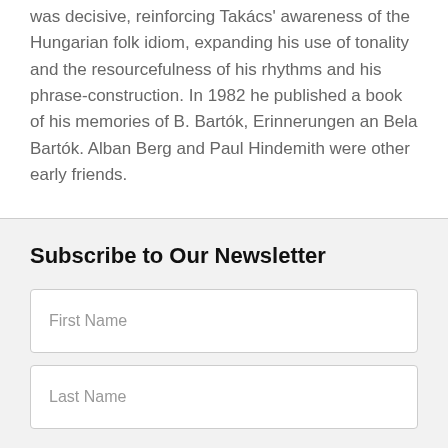was decisive, reinforcing Takács' awareness of the Hungarian folk idiom, expanding his use of tonality and the resourcefulness of his rhythms and his phrase-construction. In 1982 he published a book of his memories of B. Bartók, Erinnerungen an Bela Bartók. Alban Berg and Paul Hindemith were other early friends.
Subscribe to Our Newsletter
First Name
Last Name